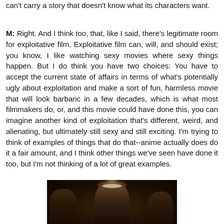can't carry a story that doesn't know what its characters want.
M: Right. And I think too, that, like I said, there's legitimate room for exploitative film. Exploitative film can, will, and should exist; you know, I like watching sexy movies where sexy things happen. But I do think you have two choices: You have to accept the current state of affairs in terms of what's potentially ugly about exploitation and make a sort of fun, harmless movie that will look barbaric in a few decades, which is what most filmmakers do, or, and this movie could have done this, you can imagine another kind of exploitation that's different, weird, and alienating, but ultimately still sexy and still exciting. I'm trying to think of examples of things that do that--anime actually does do it a fair amount, and I think other things we've seen have done it too, but I'm not thinking of a lot of great examples.
[Figure (photo): Dark cinematic still from a film showing figures in dim candlelit or torchlit setting; a central figure with a white headband or hat is visible in the foreground surrounded by other figures and warm glowing lights in the background.]